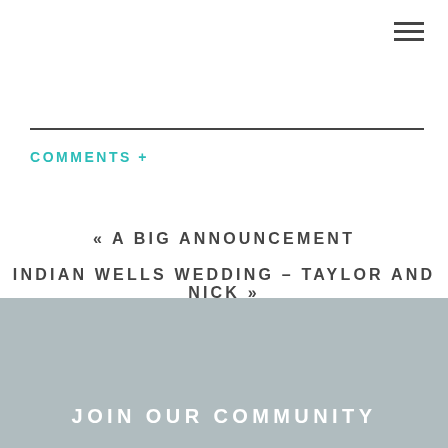[Figure (other): Hamburger menu icon with three horizontal lines in top right corner]
COMMENTS +
« A BIG ANNOUNCEMENT
INDIAN WELLS WEDDING – TAYLOR AND NICK »
JOIN OUR COMMUNITY